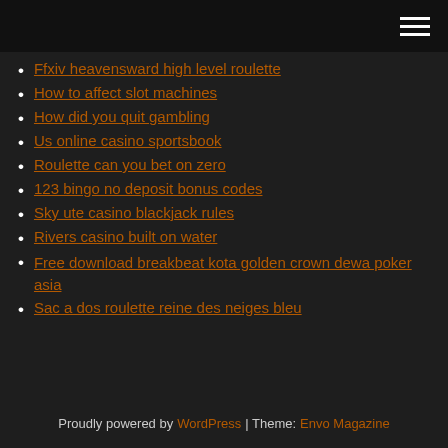[hamburger menu icon]
Ffxiv heavensward high level roulette
How to affect slot machines
How did you quit gambling
Us online casino sportsbook
Roulette can you bet on zero
123 bingo no deposit bonus codes
Sky ute casino blackjack rules
Rivers casino built on water
Free download breakbeat kota golden crown dewa poker asia
Sac a dos roulette reine des neiges bleu
Proudly powered by WordPress | Theme: Envo Magazine